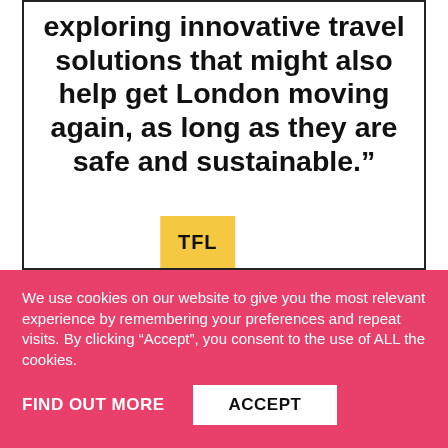exploring innovative travel solutions that might also help get London moving again, as long as they are safe and sustainable.”
[Figure (logo): TFL yellow square logo badge]
We use cookies on our website to give you the most relevant experience by remembering your preferences and repeat visits. By clicking “Accept”, you consent to the use of ALL the cookies.
FIND OUT MORE
ACCEPT